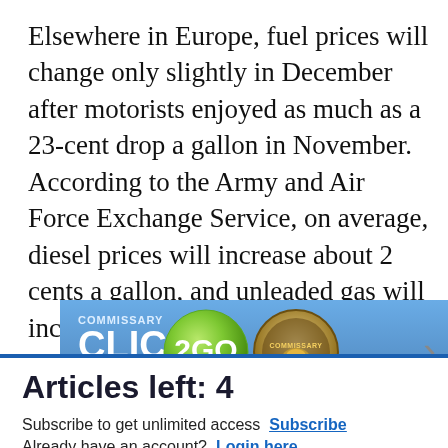Elsewhere in Europe, fuel prices will change only slightly in December after motorists enjoyed as much as a 23-cent drop a gallon in November. According to the Army and Air Force Exchange Service, on average, diesel prices will increase about 2 cents a gallon, and unleaded gas will increase anywhere from one-tenth of a cent to 2 cents, depending on base locations in
[Figure (advertisement): Commissary Click2Go advertisement banner with green circular logo, Commissary round badge logo, order groceries text, and pickup text on blue gradient background]
Articles left: 4
Subscribe to get unlimited access Subscribe
Already have an account? Login here